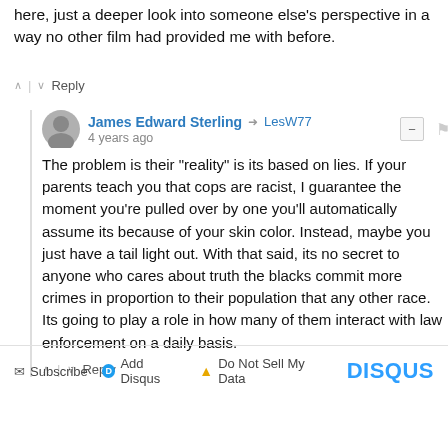here, just a deeper look into someone else's perspective in a way no other film had provided me with before.
James Edward Sterling → LesW77
4 years ago

The problem is their "reality" is its based on lies. If your parents teach you that cops are racist, I guarantee the moment you're pulled over by one you'll automatically assume its because of your skin color. Instead, maybe you just have a tail light out. With that said, its no secret to anyone who cares about truth the blacks commit more crimes in proportion to their population that any other race. Its going to play a role in how many of them interact with law enforcement on a daily basis.
Subscribe  Add Disqus  Do Not Sell My Data  DISQUS